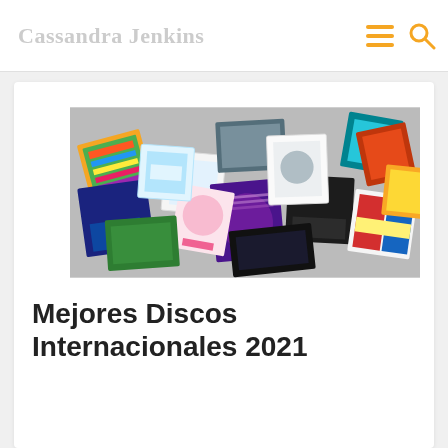Cassandra Jenkins
[Figure (photo): Collage of many music album covers scattered and overlapping, including colorful vinyl record sleeves, in a pile arrangement]
Mejores Discos Internacionales 2021
diciembre 31, 2021   cesarmejias
Twittear